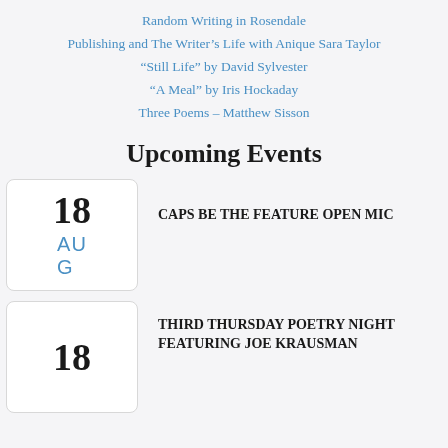Random Writing in Rosendale
Publishing and The Writer's Life with Anique Sara Taylor
“Still Life” by David Sylvester
“A Meal” by Iris Hockaday
Three Poems – Matthew Sisson
Upcoming Events
18 AUG — CAPS BE THE FEATURE OPEN MIC
18 — THIRD THURSDAY POETRY NIGHT FEATURING JOE KRAUSMAN